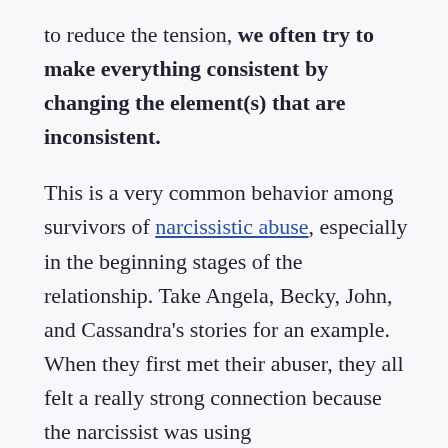to reduce the tension, we often try to make everything consistent by changing the element(s) that are inconsistent.
This is a very common behavior among survivors of narcissistic abuse, especially in the beginning stages of the relationship. Take Angela, Becky, John, and Cassandra's stories for an example. When they first met their abuser, they all felt a really strong connection because the narcissist was using